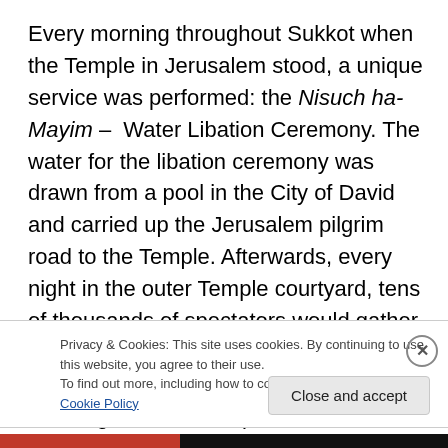Every morning throughout Sukkot when the Temple in Jerusalem stood, a unique service was performed: the Nisuch ha-Mayim – Water Libation Ceremony. The water for the libation ceremony was drawn from a pool in the City of David and carried up the Jerusalem pilgrim road to the Temple. Afterwards, every night in the outer Temple courtyard, tens of thousands of spectators would gather to watch the Simchat Beit HaShoeivah -Rejoicing at the Place of the Water-Drawing. As the most pious members of the community danced and sang songs of praise to God
Privacy & Cookies: This site uses cookies. By continuing to use this website, you agree to their use. To find out more, including how to control cookies, see here: Cookie Policy